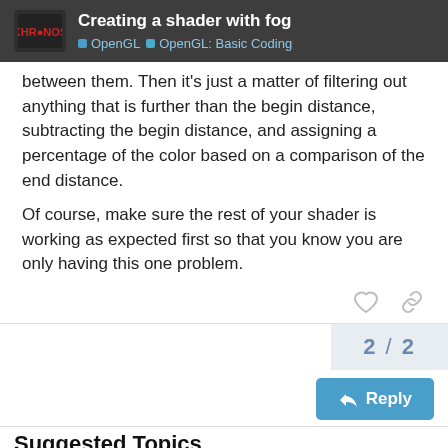Creating a shader with fog | OpenGL | OpenGL: Basic Coding
between them. Then it's just a matter of filtering out anything that is further than the begin distance, subtracting the begin distance, and assigning a percentage of the color based on a comparison of the end distance.
Of course, make sure the rest of your shader is working as expected first so that you know you are only having this one problem.
2 / 2
Reply
Suggested Topics
WGL - ChoosePixelFormat and sRGB framebuffer
OpenGL: Basic Coding
Mar 5